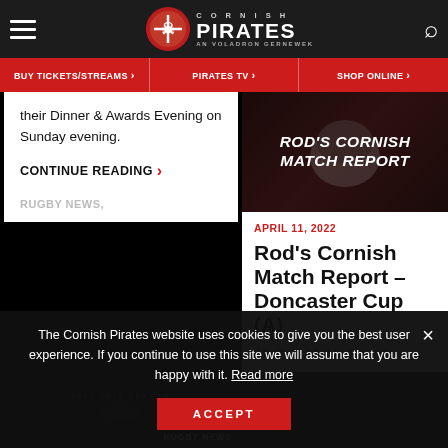CORNISH PIRATES | AN VOLADRON GERNEWEK
BUY TICKETS/STREAMS > | PIRATES TV > | SHOP ONLINE >
their Dinner & Awards Evening on Sunday evening.
CONTINUE READING >
RUGBY NEWS,
[Figure (screenshot): ROD'S CORNISH MATCH REPORT header image with dark background and rugby helmet silhouette]
APRIL 11, 2022
Rod's Cornish Match Report – Doncaster Cup (A)
An dhew bara rag kensa
[Figure (photo): Dark image with Cornish Pirates branding, 2021-2022 SEASON label, RUGBY NEWS tag]
The Cornish Pirates website uses cookies to give you the best user experience. If you continue to use this site we will assume that you are happy with it. Read more
ACCEPT